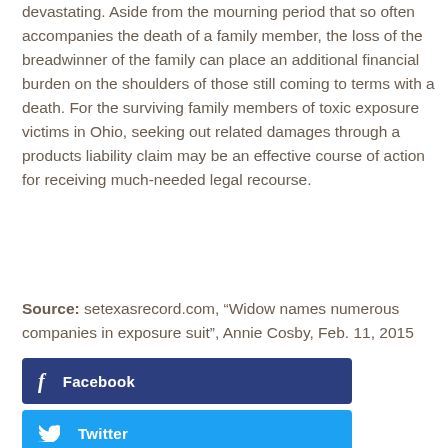devastating. Aside from the mourning period that so often accompanies the death of a family member, the loss of the breadwinner of the family can place an additional financial burden on the shoulders of those still coming to terms with a death. For the surviving family members of toxic exposure victims in Ohio, seeking out related damages through a products liability claim may be an effective course of action for receiving much-needed legal recourse.
Source: setexasrecord.com, “Widow names numerous companies in exposure suit”, Annie Cosby, Feb. 11, 2015
[Figure (other): Facebook share button — dark navy blue rectangle with 'f' icon and 'Facebook' label in white text]
[Figure (other): Twitter share button — light blue rectangle with bird icon and 'Twitter' label in white text]